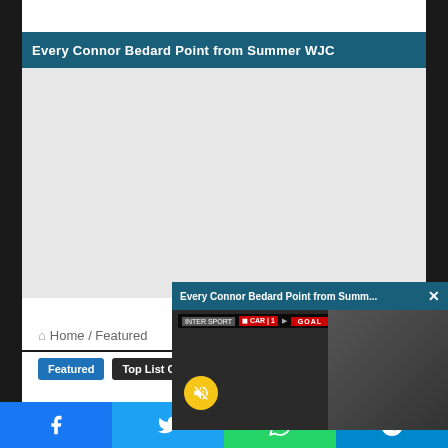Every Connor Bedard Point from Summer WJC
[Figure (screenshot): Video player placeholder - grey area for embedded video]
[Figure (screenshot): Floating popup video player showing 'Every Connor Bedard Point from Summ...' with GOAL scoreboard overlay and player face visible, yellow mute button]
Home / Featured
Featured
Top List Countdowns
Toronto Maple Leafs
Facebook | Twitter | WhatsApp | Telegram social share bar